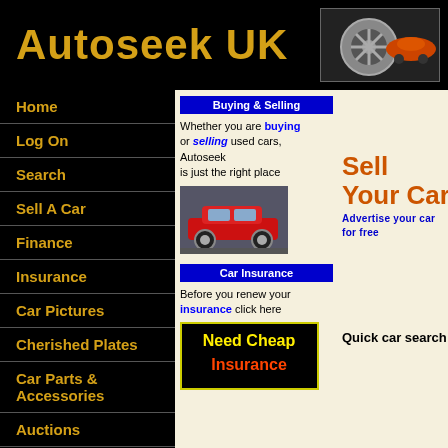Autoseek UK
[Figure (photo): Car wheel/alloy with orange sports car in background]
Home
Log On
Search
Sell A Car
Finance
Insurance
Car Pictures
Cherished Plates
Car Parts & Accessories
Auctions
Car Manufacturers
Motorsp...
Buying & Selling
Whether you are buying or selling used cars, Autoseek is just the right place
[Figure (photo): Red sports car]
Car Insurance
Before you renew your insurance click here
[Figure (illustration): Need Cheap Insurance advertisement graphic]
Sell Your Car
Advertise your car for free
Quick car search- click here